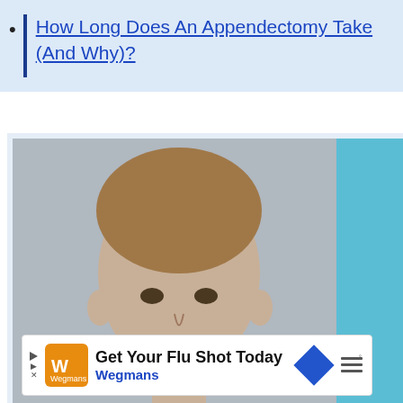How Long Does An Appendectomy Take (And Why)?
[Figure (photo): Advertisement showing a young boy (child) in a grey polo shirt against a grey background on the left and teal background on the right. Bottom of ad shows Dave Thomas Foundation for Adoption logo and 'WHAT'S NEXT → How Long After Vyvans...' overlay. A heart button and share button appear on the right side.]
[Figure (infographic): Bottom advertisement banner: Play button icon, Wegmans orange logo, text 'Get Your Flu Shot Today' and 'Wegmans', a blue diamond navigation icon, and a menu icon with degree symbol.]